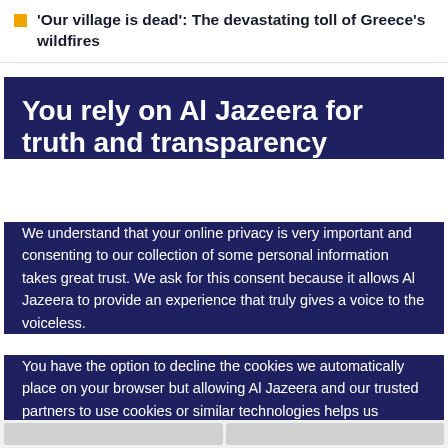'Our village is dead': The devastating toll of Greece's wildfires
You rely on Al Jazeera for truth and transparency
We understand that your online privacy is very important and consenting to our collection of some personal information takes great trust. We ask for this consent because it allows Al Jazeera to provide an experience that truly gives a voice to the voiceless.
You have the option to decline the cookies we automatically place on your browser but allowing Al Jazeera and our trusted partners to use cookies or similar technologies helps us improve our content and offerings to you. You can change your privacy preferences at any time by selecting 'Cookie preferences' at the bottom of your screen. To learn more, please view our Cookie Policy.